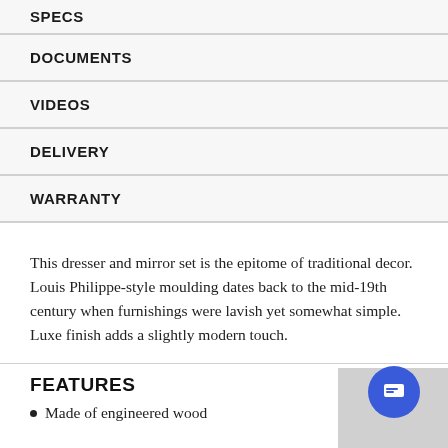SPECS
DOCUMENTS
VIDEOS
DELIVERY
WARRANTY
This dresser and mirror set is the epitome of traditional decor. Louis Philippe-style moulding dates back to the mid-19th century when furnishings were lavish yet somewhat simple. Luxe finish adds a slightly modern touch.
FEATURES
Made of engineered wood